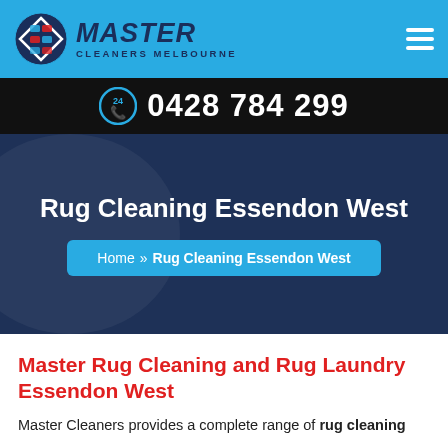[Figure (logo): Master Cleaners Melbourne logo with blue icon and stylized text]
0428 784 299
Rug Cleaning Essendon West
Home » Rug Cleaning Essendon West
Master Rug Cleaning and Rug Laundry Essendon West
Master Cleaners provides a complete range of rug cleaning